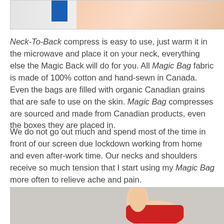[Figure (photo): Partial top image showing a blue box/product and a person's skin/neck area]
Neck-To-Back compress is easy to use, just warm it in the microwave and place it on your neck, everything else the Magic Back will do for you. All Magic Bag fabric is made of 100% cotton and hand-sewn in Canada. Even the bags are filled with organic Canadian grains that are safe to use on the skin. Magic Bag compresses are sourced and made from Canadian products, even the boxes they are placed in.
We do not go out much and spend most of the time in front of our screen due lockdown working from home and even after-work time. Our necks and shoulders receive so much tension that I start using my Magic Bag more often to relieve ache and pain.
[Figure (photo): Person's hand/wrist wrapped in a red Magic Bag compress against a grey background]